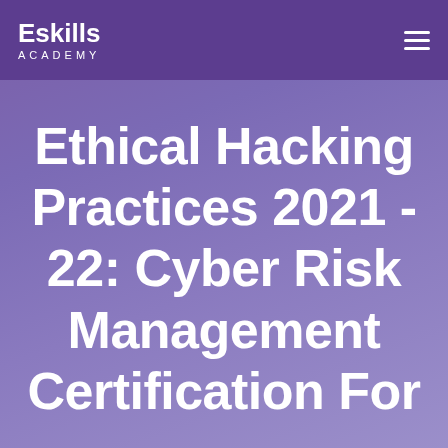Eskills ACADEMY
Ethical Hacking Practices 2021 - 22: Cyber Risk Management Certification For